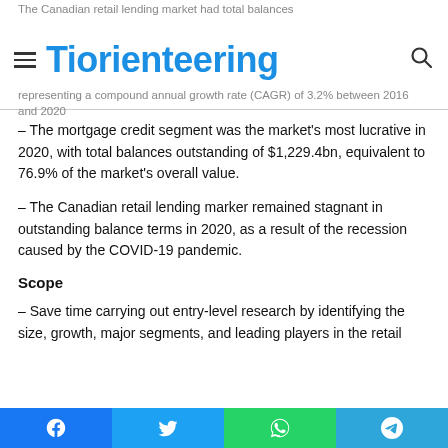The Canadian retail lending market had total balances... Tiorienteering ...representing a compound annual growth rate (CAGR) of 3.2% between 2016 and 2020.
– The mortgage credit segment was the market's most lucrative in 2020, with total balances outstanding of $1,229.4bn, equivalent to 76.9% of the market's overall value.
– The Canadian retail lending marker remained stagnant in outstanding balance terms in 2020, as a result of the recession caused by the COVID-19 pandemic.
Scope
– Save time carrying out entry-level research by identifying the size, growth, major segments, and leading players in the retail